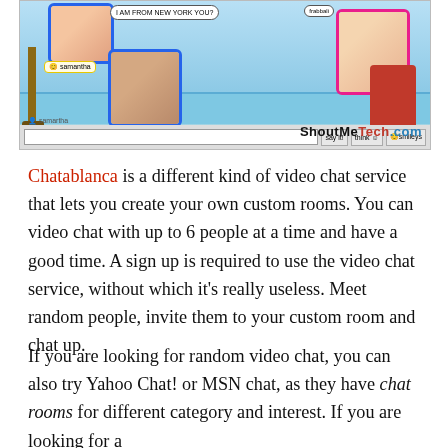[Figure (screenshot): Screenshot of Chatablanca video chat service showing multiple users in a virtual room with chat bubbles, video frames of users, and a ShoutMeTech.com watermark at the bottom right]
Chatablanca is a different kind of video chat service that lets you create your own custom rooms. You can video chat with up to 6 people at a time and have a good time. A sign up is required to use the video chat service, without which it's really useless. Meet random people, invite them to your custom room and chat up.
If you are looking for random video chat, you can also try Yahoo Chat! or MSN chat, as they have chat rooms for different category and interest. If you are looking for a